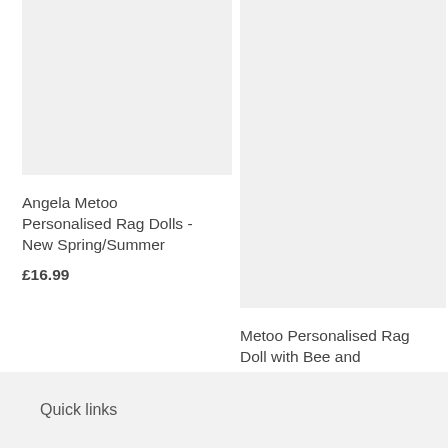[Figure (photo): Product image placeholder for Angela Metoo Personalised Rag Dolls - light grey rectangle]
Angela Metoo Personalised Rag Dolls - New Spring/Summer
£16.99
[Figure (photo): Product image placeholder for Metoo Personalised Rag Doll with Bee and Sunflowers - tall light grey rectangle]
Metoo Personalised Rag Doll with Bee and Sunflowers
£18.99
Quick links